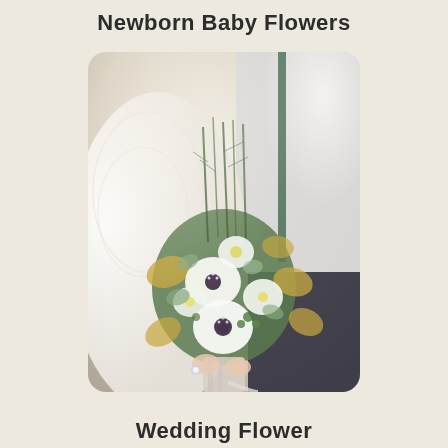Newborn Baby Flowers
[Figure (photo): Close-up photo of a bride holding a wedding bouquet with white flowers, anemones, green leaves, and golden/yellow foliage accents. A groom in a white shirt and dark pants stands beside her.]
Wedding Flower